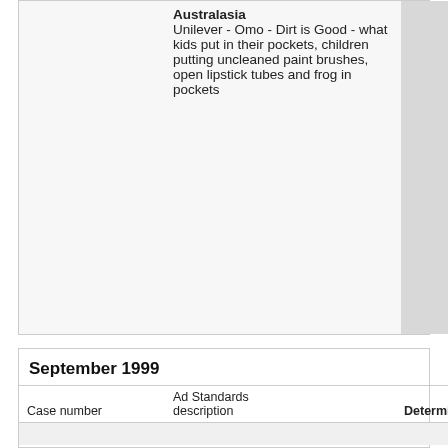|  | Australasia |  |
| --- | --- | --- |
|  | Unilever - Omo - Dirt is Good - what kids put in their pockets, children putting uncleaned paint brushes, open lipstick tubes and frog in pockets |  |
September 1999
| Case number | Ad Standards description | Determination | Category |
| --- | --- | --- | --- |